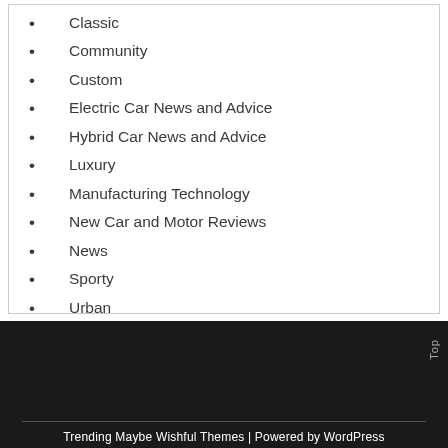Classic
Community
Custom
Electric Car News and Advice
Hybrid Car News and Advice
Luxury
Manufacturing Technology
New Car and Motor Reviews
News
Sporty
Urban
Vehicle Architecture
Top | Trending Maybe Wishful Themes | Powered by WordPress